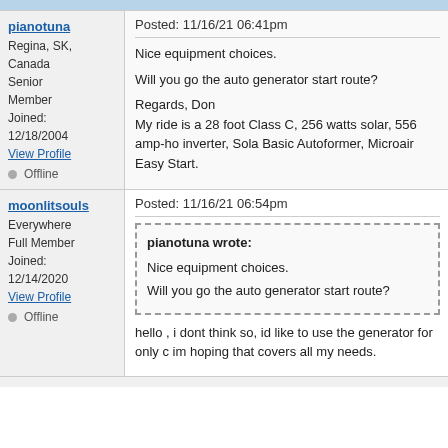pianotuna — Regina, SK, Canada — Senior Member — Joined: 12/18/2004 — View Profile — Offline
Posted: 11/16/21 06:41pm

Nice equipment choices.

Will you go the auto generator start route?

Regards, Don
My ride is a 28 foot Class C, 256 watts solar, 556 amp-ho inverter, Sola Basic Autoformer, Microair Easy Start.
moonlitsouls — Everywhere — Full Member — Joined: 12/14/2020 — View Profile — Offline
Posted: 11/16/21 06:54pm

pianotuna wrote:
Nice equipment choices.
Will you go the auto generator start route?

hello , i dont think so, id like to use the generator for only c im hoping that covers all my needs.